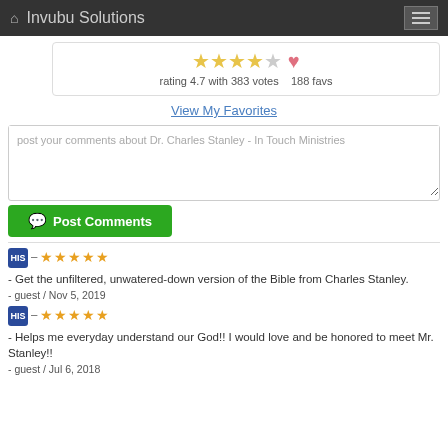Invubu Solutions
rating 4.7 with 383 votes   188 favs
View My Favorites
post your comments about Dr. Charles Stanley - In Touch Ministries
Post Comments
- Get the unfiltered, unwatered-down version of the Bible from Charles Stanley.
- guest / Nov 5, 2019
- Helps me everyday understand our God!! I would love and be honored to meet Mr. Stanley!!
- guest / Jul 6, 2018